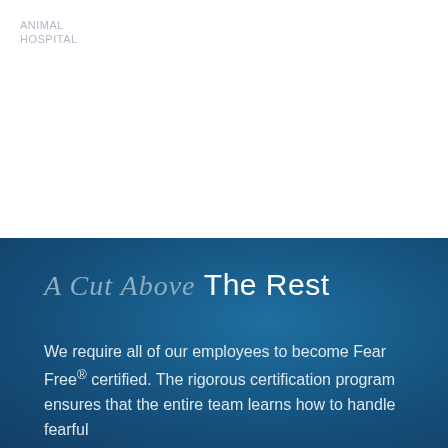[Figure (logo): Faded/watermark logo text in light gray at top left of white section]
A Cut Above The Rest
We require all of our employees to become Fear Free® certified. The rigorous certification program ensures that the entire team learns how to handle fearful